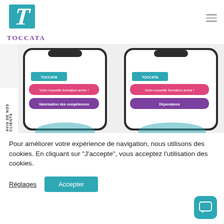[Figure (logo): Toccata logo: teal square with italic T letterform, and text TOCCATA in purple below]
[Figure (screenshot): Two smartphone screenshots showing Toccata app notifications: 'Votre nouvelle formation arrive!' in pink and 'Valorisation des compétences' / 'Dépendance' in purple, with AVIS DE NOS CLIENTS sidebar with stars]
Pour améliorer votre expérience de navigation, nous utilisons des cookies. En cliquant sur "J'accepte", vous acceptez l'utilisation des cookies.
Réglages
Accepter